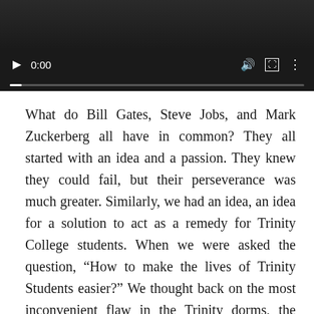[Figure (screenshot): Video player UI with dark background showing play button, 0:00 timestamp, volume icon, fullscreen icon, options icon, and a progress bar at the bottom]
What do Bill Gates, Steve Jobs, and Mark Zuckerberg all have in common? They all started with an idea and a passion. They knew they could fail, but their perseverance was much greater. Similarly, we had an idea, an idea for a solution to act as a remedy for Trinity College students. When we were asked the question, “How to make the lives of Trinity Students easier?” We thought back on the most inconvenient flaw in the Trinity dorms, the doors. You see, if you do not have your keycard on you at all times of the day, you are locked out of your dorm room and your bathroom. What happens when you go to take a shower, and you forget your key? I do not know about you, but it would be a pretty embarrassing situation that your classmates will never let you live down and will still haunt